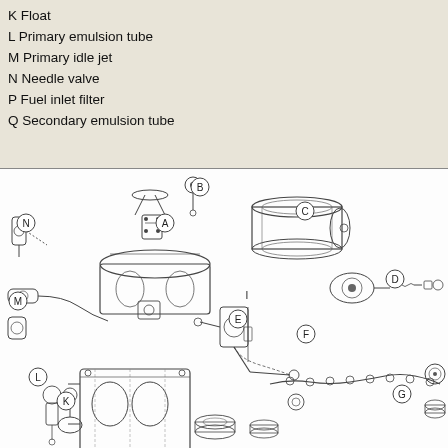K Float
L Primary emulsion tube
M Primary idle jet
N Needle valve
P Fuel inlet filter
Q Secondary emulsion tube
[Figure (engineering-diagram): Exploded view diagram of a carburetor assembly with labeled parts A through Q, showing all components separated to display assembly order and relationships. Parts include float (K), primary emulsion tube (L), primary idle jet (M), needle valve (N), fuel inlet filter (P), secondary emulsion tube (Q), and other carburetor components labeled A through G and I.]